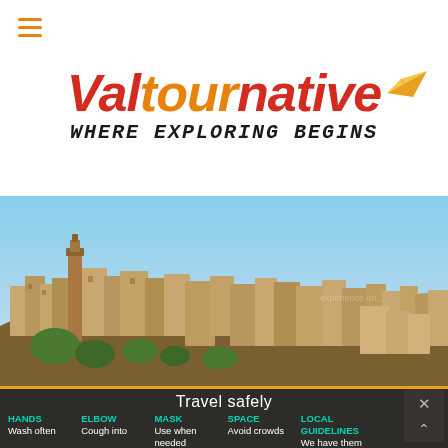[Figure (logo): Valtournative logo with tagline 'Where Exploring Begins' and orange paper plane icon. Red and orange italic bold text.]
[Figure (photo): Panoramic photo of a historic hillside town with stone buildings and a bell tower under a blue sky.]
Travel safely
HANDS – Wash often
ELBOW – Cough into
MASK – Use when needed
SPACE – Avoid crowds
LOCAL GUIDELINES – We have them covered